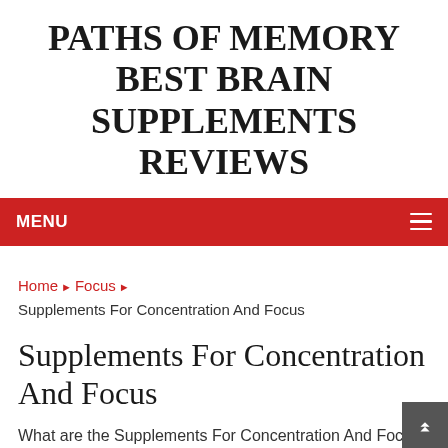PATHS OF MEMORY BEST BRAIN SUPPLEMENTS REVIEWS
MENU
Home ▶ Focus ▶ Supplements For Concentration And Focus
Supplements For Concentration And Focus
What are the Supplements For Concentration And Focus